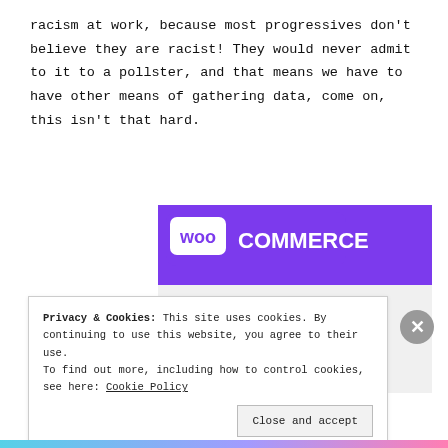racism at work, because most progressives don't believe they are racist! They would never admit to it to a pollster, and that means we have to have other means of gathering data, come on, this isn't that hard.
[Figure (screenshot): WooCommerce advertisement banner showing 'How to start selling subscriptions online' with purple, teal, and light blue geometric shapes on a light gray background.]
Privacy & Cookies: This site uses cookies. By continuing to use this website, you agree to their use.
To find out more, including how to control cookies, see here: Cookie Policy
Close and accept